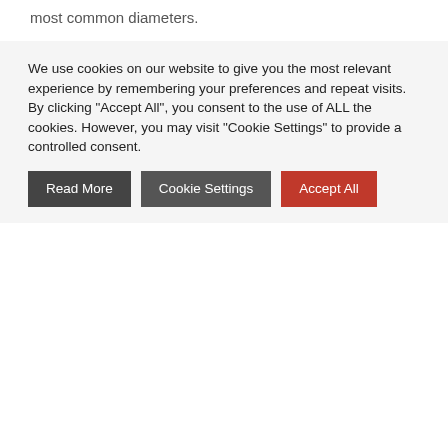most common diameters.
Fire Testing
In terms of their fire classification – they provide up to 240 minutes for both integrity and insulation.
Certified for PVC-U, PVC-C, PE, LDPE, MDPE, HDPE, ABS, SAN+PVC, PP pipes as well as various composite pipes.
Tested and certified for U/U pipe end applications.
We use cookies on our website to give you the most relevant experience by remembering your preferences and repeat visits. By clicking "Accept All", you consent to the use of ALL the cookies. However, you may visit "Cookie Settings" to provide a controlled consent.
Read More
Cookie Settings
Accept All